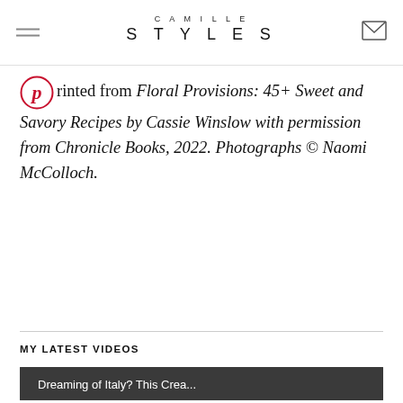CAMILLE STYLES
Printed from Floral Provisions: 45+ Sweet and Savory Recipes by Cassie Winslow with permission from Chronicle Books, 2022. Photographs © Naomi McColloch.
MY LATEST VIDEOS
[Figure (screenshot): Video thumbnail showing a hand working with a cast iron skillet, with title 'Dreaming of Italy? This Crea...' and a play button overlay]